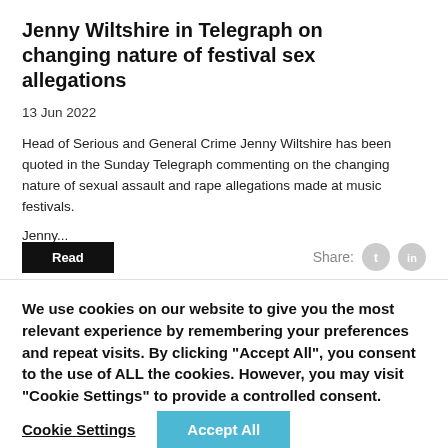Jenny Wiltshire in Telegraph on changing nature of festival sex allegations
13 Jun 2022
Head of Serious and General Crime Jenny Wiltshire has been quoted in the Sunday Telegraph commenting on the changing nature of sexual assault and rape allegations made at music festivals.
Jenny...
We use cookies on our website to give you the most relevant experience by remembering your preferences and repeat visits. By clicking “Accept All”, you consent to the use of ALL the cookies. However, you may visit "Cookie Settings" to provide a controlled consent.
Cookie Settings
Accept All